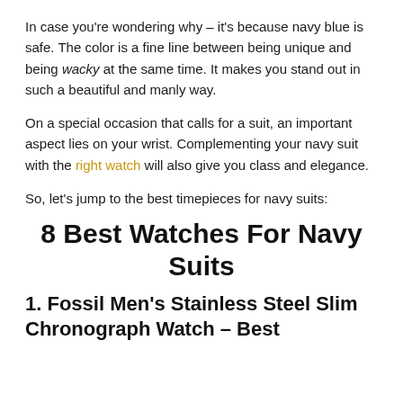In case you're wondering why – it's because navy blue is safe. The color is a fine line between being unique and being wacky at the same time. It makes you stand out in such a beautiful and manly way.
On a special occasion that calls for a suit, an important aspect lies on your wrist. Complementing your navy suit with the right watch will also give you class and elegance.
So, let's jump to the best timepieces for navy suits:
8 Best Watches For Navy Suits
1. Fossil Men's Stainless Steel Slim Chronograph Watch – Best